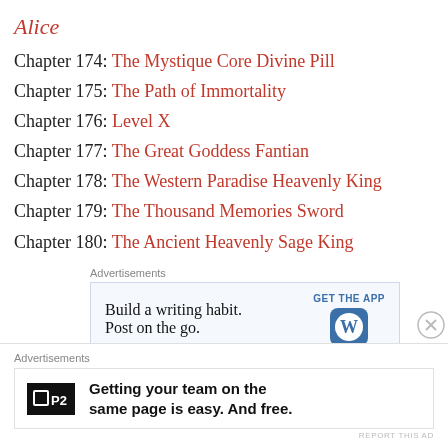Alice
Chapter 174: The Mystique Core Divine Pill
Chapter 175: The Path of Immortality
Chapter 176: Level X
Chapter 177: The Great Goddess Fantian
Chapter 178: The Western Paradise Heavenly King
Chapter 179: The Thousand Memories Sword
Chapter 180: The Ancient Heavenly Sage King
[Figure (other): Advertisement banner: Build a writing habit. Post on the go. GET THE APP [WordPress logo]]
Chapter 181: The Golden Invincible Force
Chapter 182: The Immortal Hero of the Three Known
[Figure (other): Bottom advertisement banner: P2 logo - Getting your team on the same page is easy. And free.]